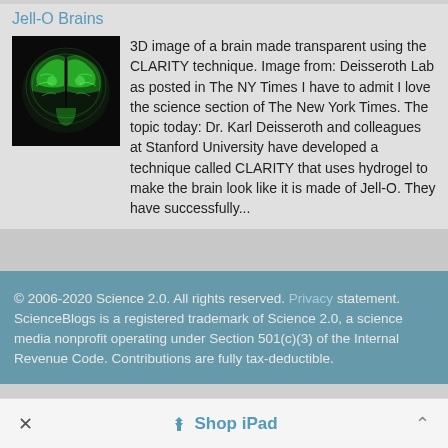Jell-O Brains
[Figure (photo): 3D fluorescence image of a transparent brain shown in green against black background, created using the CLARITY technique]
3D image of a brain made transparent using the CLARITY technique. Image from: Deisseroth Lab as posted in The NY Times I have to admit I love the science section of The New York Times. The topic today: Dr. Karl Deisseroth and colleagues at Stanford University have developed a technique called CLARITY that uses hydrogel to make the brain look like it is made of Jell-O. They have successfully...
© 2006-2020 Science 2.0. All rights reserved. Privacy statement. ScienceBlogs is a registered trademark of Science 2.0, a science media nonprofit operating under Section 501(c)(3) of the Internal Revenue Code. Contributions are fully tax-deductible.